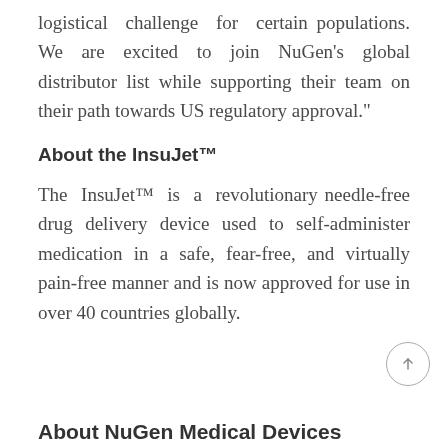logistical challenge for certain populations. We are excited to join NuGen's global distributor list while supporting their team on their path towards US regulatory approval."
About the InsuJet™
The InsuJet™ is a revolutionary needle-free drug delivery device used to self-administer medication in a safe, fear-free, and virtually pain-free manner and is now approved for use in over 40 countries globally.
About NuGen Medical Devices